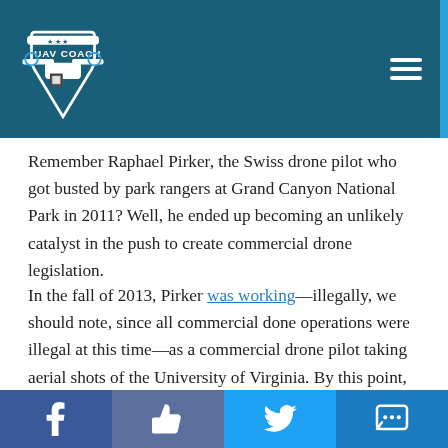UAV Coach
Remember Raphael Pirker, the Swiss drone pilot who got busted by park rangers at Grand Canyon National Park in 2011? Well, he ended up becoming an unlikely catalyst in the push to create commercial drone legislation.
In the fall of 2013, Pirker was working—illegally, we should note, since all commercial done operations were illegal at this time—as a commercial drone pilot taking aerial shots of the University of Virginia. By this point, seven years after the FAA's commercial drone ban had been issued, there were several "underground" commercial drone operators who were willing to risk breaking
Facebook | Like | Twitter | Message